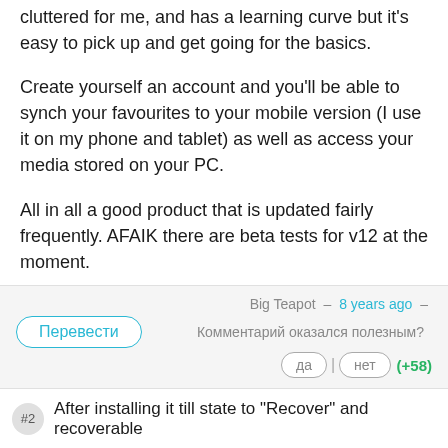cluttered for me, and has a learning curve but it's easy to pick up and get going for the basics.
Create yourself an account and you'll be able to synch your favourites to your mobile version (I use it on my phone and tablet) as well as access your media stored on your PC.
All in all a good product that is updated fairly frequently. AFAIK there are beta tests for v12 at the moment.
You'll find a useful users forum on their site, in German and English, as it seems the majority of users are German speaking.
HTH
Big Teapot – 8 years ago –
Комментарий оказался полезным?
Перевести | да | нет (+58)
After installing it till state to "Recover" and recoverable